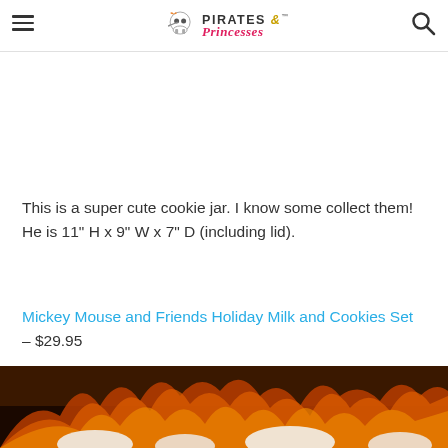Pirates & Princesses
This is a super cute cookie jar. I know some collect them!  He is 11" H x 9" W x 7" D (including lid).
Mickey Mouse and Friends Holiday Milk and Cookies Set – $29.95
[Figure (photo): Bottom portion of a photo showing flames/fire with white marshmallow-like shapes, dark warm background]